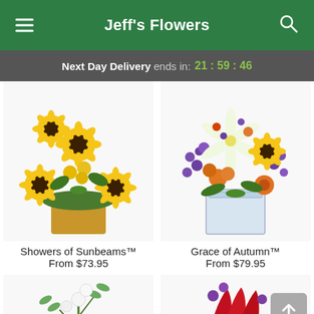Jeff's Flowers
Next Day Delivery ends in: 21 : 59 : 46
[Figure (photo): Sunflower and yellow rose bouquet in a yellow square vase - Showers of Sunbeams]
Showers of Sunbeams™
From $73.95
[Figure (photo): Mixed floral arrangement with sunflowers, orange roses, white lilies, and purple flowers in a clear glass square vase - Grace of Autumn]
Grace of Autumn™
From $79.95
[Figure (photo): Partial view of white flowers with green stems/eucalyptus]
[Figure (photo): Partial view of red and purple floral arrangement in a dark container]